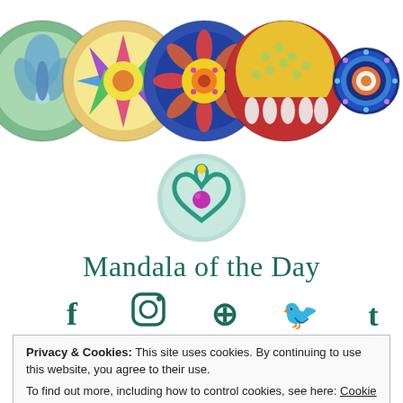[Figure (illustration): Row of 5 circular mandala artwork images at top of page]
[Figure (logo): Circular logo with teal heart/leaf design and magenta gem with yellow dot, on light teal background]
Mandala of the Day
[Figure (illustration): Social media icons row: Facebook, Instagram, Pinterest, Twitter, Tumblr in teal color]
Privacy & Cookies: This site uses cookies. By continuing to use this website, you agree to their use.
To find out more, including how to control cookies, see here: Cookie Policy
Close and accept